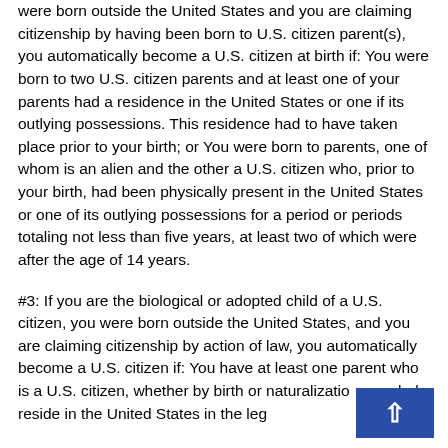were born outside the United States and you are claiming citizenship by having been born to U.S. citizen parent(s), you automatically become a U.S. citizen at birth if: You were born to two U.S. citizen parents and at least one of your parents had a residence in the United States or one if its outlying possessions. This residence had to have taken place prior to your birth; or You were born to parents, one of whom is an alien and the other a U.S. citizen who, prior to your birth, had been physically present in the United States or one of its outlying possessions for a period or periods totaling not less than five years, at least two of which were after the age of 14 years.
#3: If you are the biological or adopted child of a U.S. citizen, you were born outside the United States, and you are claiming citizenship by action of law, you automatically become a U.S. citizen if: You have at least one parent who is a U.S. citizen, whether by birth or naturalization; regularly reside in the United States in the legal…